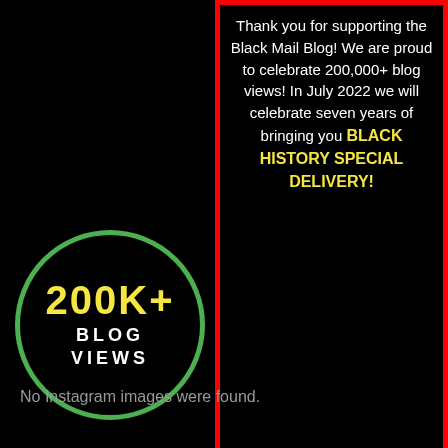[Figure (infographic): Black background promotional banner for Black Mail Blog celebrating 200K+ blog views. Left side: large green circle with '200K+' in yellow and 'BLOG VIEWS' in white. Right side: red-bordered box with text 'Thank you for supporting the Black Mail Blog! We are proud to celebrate 200,000+ blog views! In July 2022 we will celebrate seven years of bringing you BLACK HISTORY SPECIAL DELIVERY!' in white and yellow. Bottom left: a stamp graphic. Bottom red bar: 'Blackmail4u.com' in white bold text.]
No Instagram images were found.